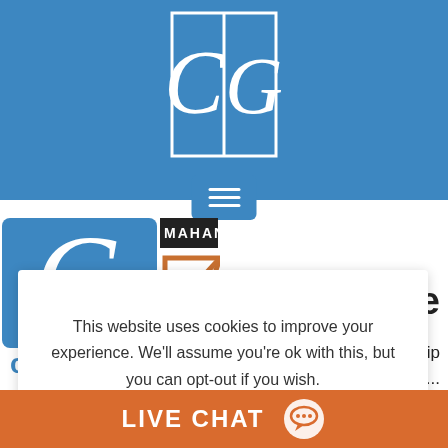[Figure (logo): CG logo — white stylized letters C and G on blue rectangular background with white border lines]
[Figure (screenshot): Hamburger menu button (three horizontal white lines) on blue rounded rectangle background]
[Figure (logo): Partial logo: blue square with white G letter and text 'chGroup' below; beside it a partial Mahan logo]
iculture
r partnership
hat raises ...
This website uses cookies to improve your experience. We'll assume you're ok with this, but you can opt-out if you wish.
Cookie settings
ACCEPT
Read our Privacy Policy
LIVE CHAT